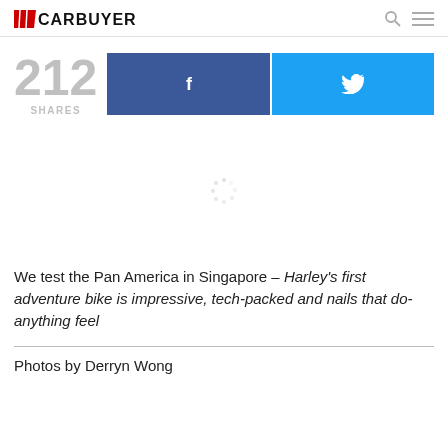CARBUYER
212 SHARES
[Figure (screenshot): Loading spinner / image placeholder in center of page]
We test the Pan America in Singapore – Harley's first adventure bike is impressive, tech-packed and nails that do-anything feel
Photos by Derryn Wong